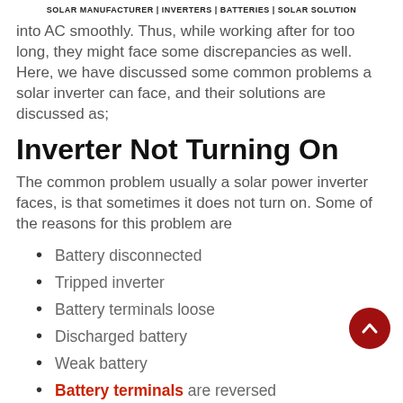SOLAR MANUFACTURER | INVERTERS | BATTERIES | SOLAR SOLUTION
into AC smoothly. Thus, while working after for too long, they might face some discrepancies as well. Here, we have discussed some common problems a solar inverter can face, and their solutions are discussed as;
Inverter Not Turning On
The common problem usually a solar power inverter faces, is that sometimes it does not turn on. Some of the reasons for this problem are
Battery disconnected
Tripped inverter
Battery terminals loose
Discharged battery
Weak battery
Battery terminals are reversed